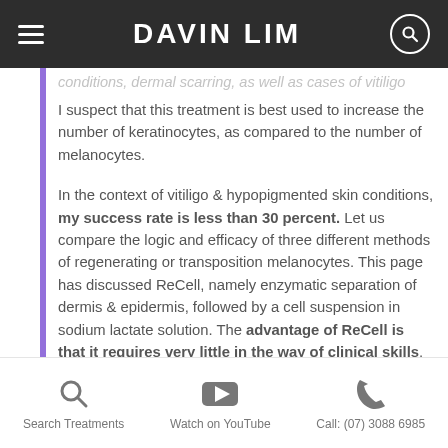DAVIN LIM
I suspect that this treatment is best used to increase the number of keratinocytes, as compared to the number of melanocytes.
In the context of vitiligo & hypopigmented skin conditions, my success rate is less than 30 percent. Let us compare the logic and efficacy of three different methods of regenerating or transposition melanocytes. This page has discussed ReCell, namely enzymatic separation of dermis & epidermis, followed by a cell suspension in sodium lactate solution. The advantage of ReCell is that it requires very little in the way of clinical skills, that is why a dermatologist who has a paucity of skill sets can be a key opinion
Search Treatments   Watch on YouTube   Call: (07) 3088 6985